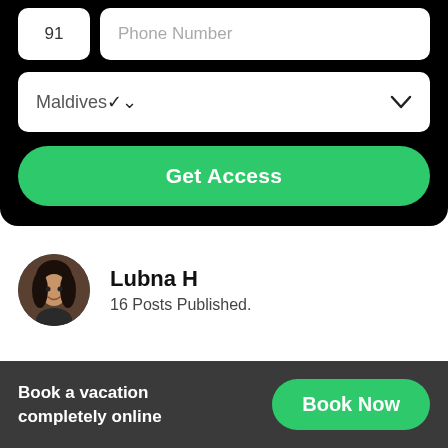[Figure (screenshot): Phone number input field with country code 91 and placeholder 'Phone Number' on black background]
[Figure (screenshot): Dropdown field showing 'Maldives' with chevron arrow on black background]
Get Access
[Figure (photo): Circular profile photo of Lubna H, a woman with dark hair]
Lubna H
16 Posts Published.
Book a vacation completely online
Book Now